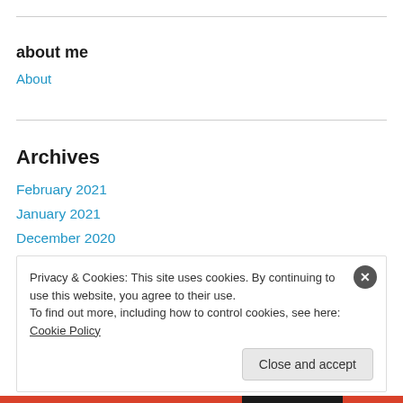about me
About
Archives
February 2021
January 2021
December 2020
November 2020
October 2020
Privacy & Cookies: This site uses cookies. By continuing to use this website, you agree to their use.
To find out more, including how to control cookies, see here: Cookie Policy
Close and accept